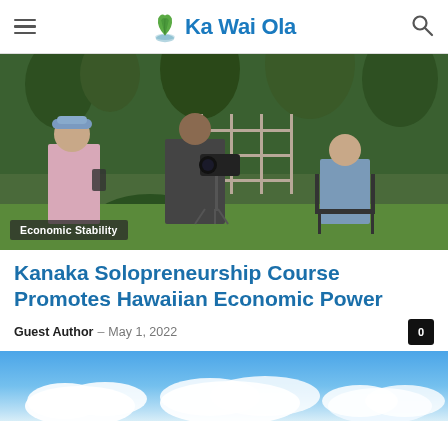Ka Wai Ola
[Figure (photo): Outdoor filming scene: a person in pink shirt and blue bucket hat holds a phone, a videographer in a patterned jacket films with a camera on tripod, and a subject sits on a chair in front of tropical garden greenery]
Economic Stability
Kanaka Solopreneurship Course Promotes Hawaiian Economic Power
Guest Author – May 1, 2022
[Figure (photo): Blue sky with white cumulus clouds]